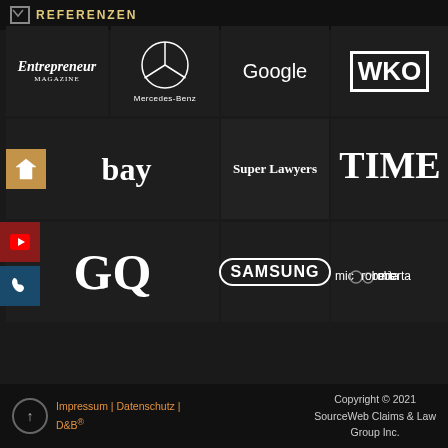REFERENZEN
[Figure (logo): Grid of brand logos: Entrepreneur Magazine, Mercedes-Benz, Google, WKO, eBay, Super Lawyers, Amazon, TIME, GQ, Samsung, The Wall Street Journal, microberta]
Impressum | Datenschutz | D&B® Copyright © 2021 SourceWeb Claims & Law Group Inc.